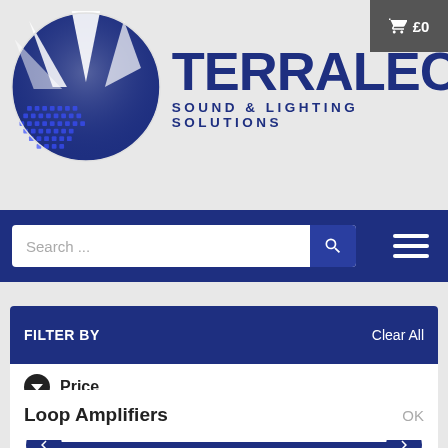[Figure (logo): Terralec Sound & Lighting Solutions logo with circular emblem showing light beams and dot matrix pattern]
[Figure (screenshot): Navigation bar with search field and hamburger menu on dark blue background]
FILTER BY    Clear All
Price
£22    £249
We use cookies to give you the best customer experience possible. If you continue to use our website, we will assume you are happy to receive cookies from us and our partners. Find out more
Loop Amplifiers    OK